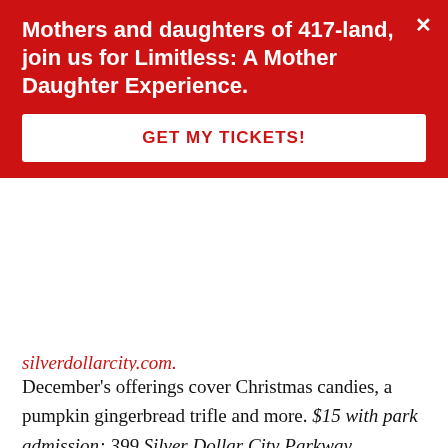Mothers and daughters of 417-land, join us for Limitless: A Mother Daughter Experience.
GET MY TICKETS!
December's offerings cover Christmas candies, a pumpkin gingerbread trifle and more. $15 with park admission; 399 Silver Dollar City Parkway, Branson; for more information, call 800-475-9370 or visit silverdollarcity.com.
Price Cutter Culinary Kitchen
Become a happening host with all the tips and tricks,